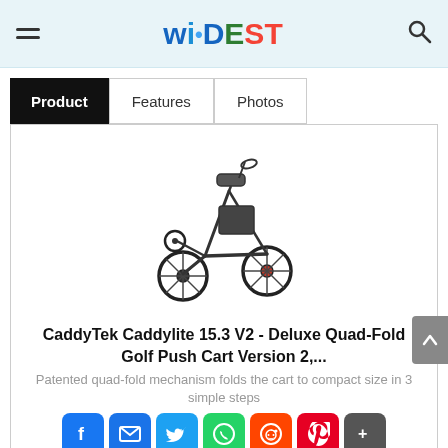widest
Product | Features | Photos
[Figure (photo): CaddyTek Caddylite 15.3 V2 golf push cart, black, folded view showing 3 wheels and frame]
CaddyTek Caddylite 15.3 V2 - Deluxe Quad-Fold Golf Push Cart Version 2,...
Patented quad-fold mechanism folds the cart to compact size in 3 simple steps
Strong aluminum frame, weighs less than 15.3